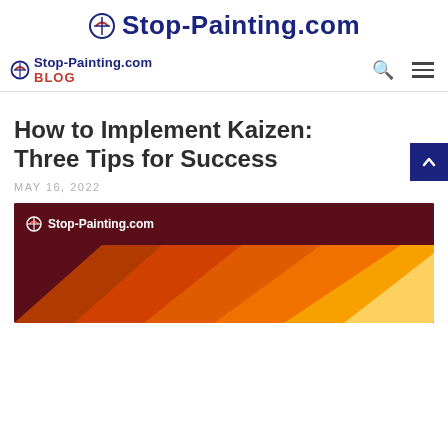Stop-Painting.com
Stop-Painting.com BLOG
How to Implement Kaizen: Three Tips for Success
MAY 16, 2022
[Figure (illustration): Stop-Painting.com branded article header image with dark red background and diagonal orange/yellow stripes]